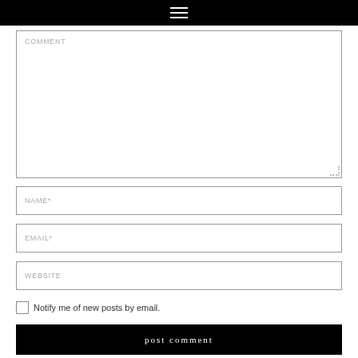Navigation menu (hamburger icon)
COMMENT
NAME*
EMAIL*
WEBSITE
Notify me of new posts by email.
post comment